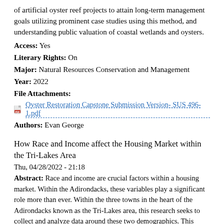of artificial oyster reef projects to attain long-term management goals utilizing prominent case studies using this method, and understanding public valuation of coastal wetlands and oysters.
Access: Yes
Literary Rights: On
Major: Natural Resources Conservation and Management
Year: 2022
File Attachments:
Oyster Restoration Capstone Submission Version- SUS 496-1.pdf
Authors: Evan George
How Race and Income affect the Housing Market within the Tri-Lakes Area
Thu, 04/28/2022 - 21:18
Abstract: Race and income are crucial factors within a housing market. Within the Adirondacks, these variables play a significant role more than ever. Within the three towns in the heart of the Adirondacks known as the Tri-Lakes area, this research seeks to collect and analyze data around these two demographics. This study collects the data necessary spanning years prior within the Tri-Lake area, then analyzes it by using critical theories around Racial Infrastructure and Rural Decline. Within the study,